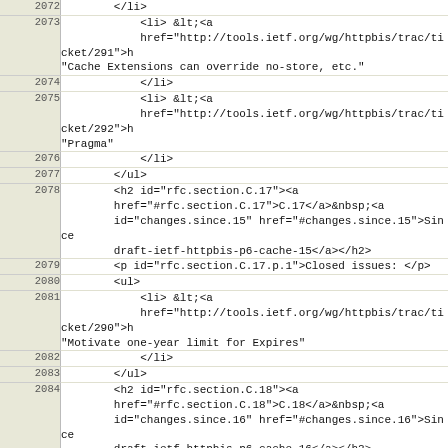Code listing with line numbers 2072-2090 showing HTML source of RFC document changes sections C.17 and C.18
| Line | Code |
| --- | --- |
| 2072 |         </li> |
| 2073 |             <li> &lt;<a
            href="http://tools.ietf.org/wg/httpbis/trac/ticket/291">h
            "Cache Extensions can override no-store, etc." |
| 2074 |             </li> |
| 2075 |             <li> &lt;<a
            href="http://tools.ietf.org/wg/httpbis/trac/ticket/292">h
            "Pragma" |
| 2076 |             </li> |
| 2077 |         </ul> |
| 2078 |         <h2 id="rfc.section.C.17"><a
        href="#rfc.section.C.17">C.17</a>&nbsp;<a
        id="changes.since.15" href="#changes.since.15">Since
        draft-ietf-httpbis-p6-cache-15</a></h2> |
| 2079 |         <p id="rfc.section.C.17.p.1">Closed issues: </p> |
| 2080 |         <ul> |
| 2081 |             <li> &lt;<a
            href="http://tools.ietf.org/wg/httpbis/trac/ticket/290">h
            "Motivate one-year limit for Expires" |
| 2082 |             </li> |
| 2083 |         </ul> |
| 2084 |         <h2 id="rfc.section.C.18"><a
        href="#rfc.section.C.18">C.18</a>&nbsp;<a
        id="changes.since.16" href="#changes.since.16">Since
        draft-ietf-httpbis-p6-cache-16</a></h2> |
| 2085 |         <p id="rfc.section.C.18.p.1">Closed issues: </p> |
| 2086 |         <ul> |
| 2087 |             <li> &lt;<a
            href="http://tools.ietf.org/wg/httpbis/trac/ticket/186">h
            "Document HTTP's error-handling philosophy" |
| 2088 |             </li> |
| 2089 |             <li> &lt;<a
            href="http://tools.ietf.org/wg/httpbis/trac/ticket/317">h
            "Cache-Control directive case sensitivity" |
| 2090 |             </li> |